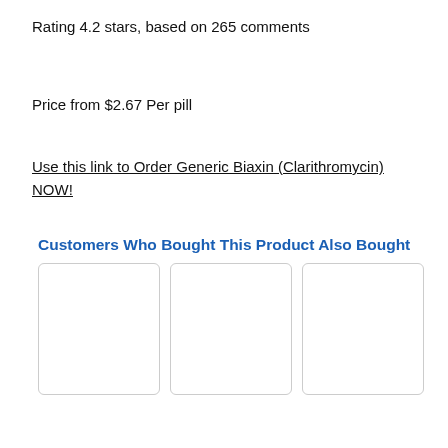Rating 4.2 stars, based on 265 comments
Price from $2.67 Per pill
Use this link to Order Generic Biaxin (Clarithromycin) NOW!
Customers Who Bought This Product Also Bought
[Figure (other): Three product card placeholders shown as rounded-rectangle outlines in a row]